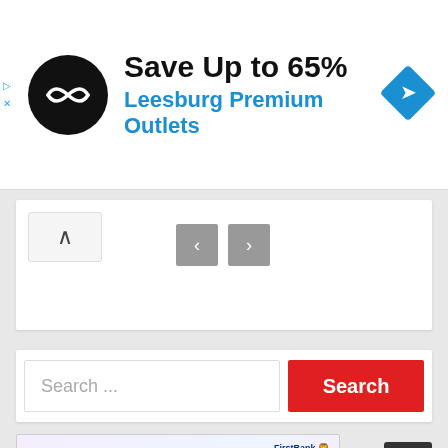[Figure (screenshot): Advertisement banner: black circular logo with double arrow icon, text 'Save Up to 65%' in bold black, 'Leesburg Premium Outlets' in blue, blue diamond navigation icon on right. Small play/close controls on left edge.]
[Figure (screenshot): Web UI carousel section with up-arrow button on left and left/right navigation grey buttons in center]
[Figure (screenshot): Search bar with placeholder text 'Search ...' and red 'Search' button on right]
[Figure (screenshot): FirstBank advertisement: 'Achieve MORE at NO KOBO!' with FirstBank logo, photos of houses and people. Dark scroll-to-top arrow button on right.]